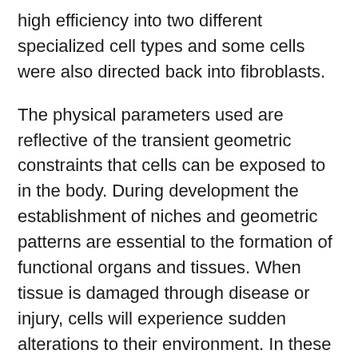high efficiency into two different specialized cell types and some cells were also directed back into fibroblasts.
The physical parameters used are reflective of the transient geometric constraints that cells can be exposed to in the body. During development the establishment of niches and geometric patterns are essential to the formation of functional organs and tissues. When tissue is damaged through disease or injury, cells will experience sudden alterations to their environment. In these cases, mature cells might revert back to a pluripotent stem cell like state prior to being redeployed as specialized cells for maintenance and repair of tissue. The study shows for the first time that mechanical cues can reset